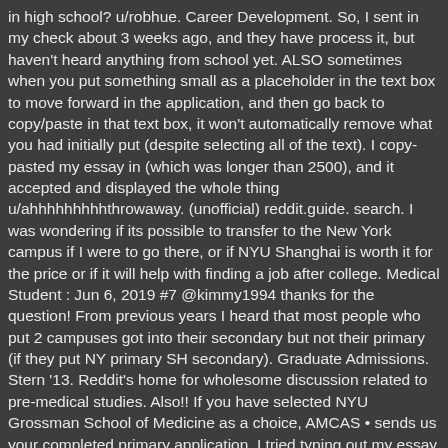in high school? u/robhue. Career Development. So, I sent in my check about 3 weeks ago, and they have process it, but haven't heard anything from school yet. ALSO sometimes when you put something small as a placeholder in the text box to move forward in the application, and then go back to copy/paste in that text box, it won't automatically remove what you had initially put (despite selecting all of the text). I copy-pasted my essay in (which was longer than 2500), and it accepted and displayed the whole thing u/ahhhhhhhhhthrowaway. (unofficial) reddit.guide. search. I was wondering if its possible to transfer to the New York campus if I were to go there, or if NYU Shanghai is worth it for the price or if it will help with finding a job after college. Medical Student : Jun 6, 2019 #7 @kimmy1994 thanks for the question! From previous years I heard that most people who put 2 campuses got into their secondary but not their primary (if they put NY primary SH secondary). Graduate Admissions. Stern '13. Reddit's home for wholesome discussion related to pre-medical studies. Also!! If you have selected NYU Grossman School of Medicine as a choice, AMCAS • sends us your completed primary application. I tried typing out my essay to see if it would cut me off when I got to 2500 characters and it DID. Adv Cert. NYU Apps. New York University Medical School 2020-21 secondary application essay questions. Conservatives and Liberals Motivated by Different Psychological Students Create COVID-19 PSAs for Gen Z. MA. Educational